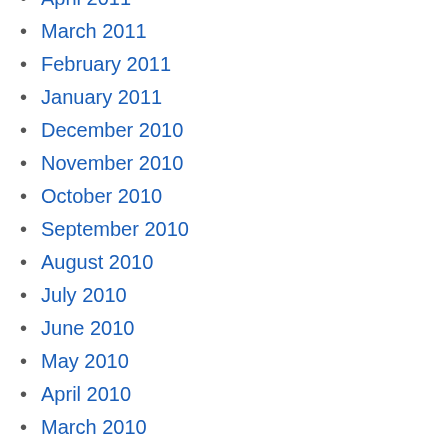April 2011
March 2011
February 2011
January 2011
December 2010
November 2010
October 2010
September 2010
August 2010
July 2010
June 2010
May 2010
April 2010
March 2010
February 2010
January 2010